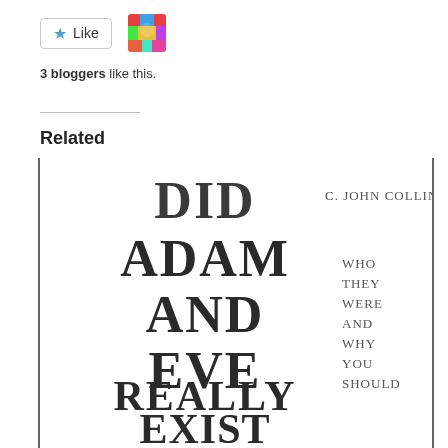[Figure (other): Like button with star icon and blogger avatar thumbnail]
3 bloggers like this.
Related
[Figure (photo): Book cover showing 'Did Adam and Eve Really Exist' by C. John Collins, with subtitle 'Who they were and why you should care']